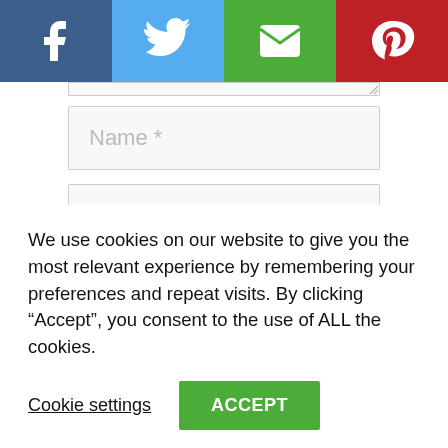[Figure (infographic): Social share buttons bar: Facebook (dark blue), Twitter (light blue), Email (green), Pinterest (red), each with white icon]
Name *
Email *
Website
Save my name, email, and website in this browser for the next time I comment.
We use cookies on our website to give you the most relevant experience by remembering your preferences and repeat visits. By clicking “Accept”, you consent to the use of ALL the cookies.
Cookie settings
ACCEPT